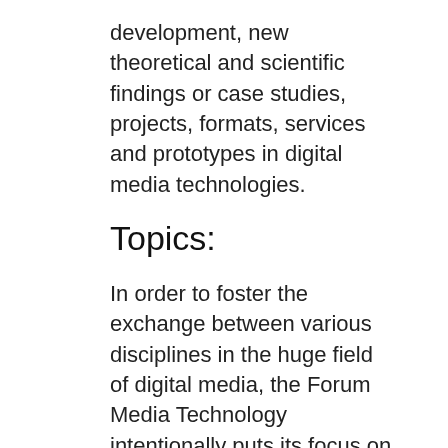development, new theoretical and scientific findings or case studies, projects, formats, services and prototypes in digital media technologies.
Topics:
In order to foster the exchange between various disciplines in the huge field of digital media, the Forum Media Technology intentionally puts its focus on a wide range of content and on interdisciplinary dialogues at the intersection of new technological possibilities, creative design as well as economic, social and cultural framework requirements. We invite submissions which address one of the topics of the conference: